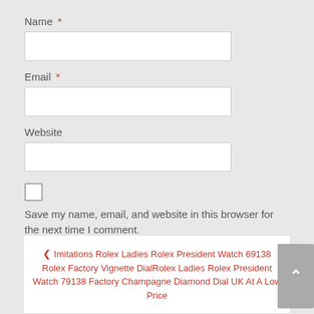Name *
Email *
Website
Save my name, email, and website in this browser for the next time I comment.
POST COMMENT
❮ Imitations Rolex Ladies Rolex President Watch 69138 Rolex Factory Vignette DialRolex Ladies Rolex President Watch 79138 Factory Champagne Diamond Dial UK At A Low Price